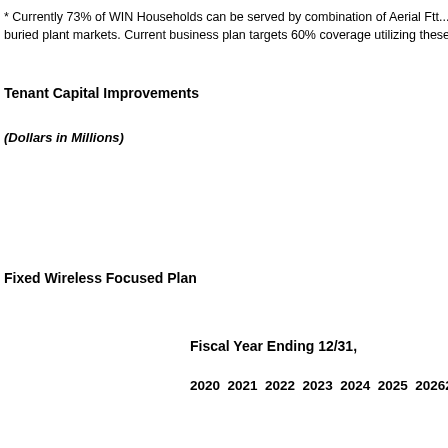* Currently 73% of WIN Households can be served by combination of Aerial Ftt... buried plant markets. Current business plan targets 60% coverage utilizing these...
Tenant Capital Improvements
(Dollars in Millions)
|  | 2020 | 2021 | 2022 | 2023 | 2024 | 2025 | 2026 | 2027 | 20... |
| --- | --- | --- | --- | --- | --- | --- | --- | --- | --- |
| Fixed Wireless Focused Plan |  |  |  |  |  |  |  |  |  |
| Total Fiber | $ 64 | $ 70 | $ 47 | $ 44 | $ 40 | $ 36 | $ 34 | $ 32 | $ 3... |
| Copper | 33 | 23 | 16 | 11 | 8 | 6 | 4 | 3 | 2 |
| Other (Buildings, Poles, Conduit) | 9 | 8 | 7 | 6 | 6 | 5 | 5 | 4 | 4 |